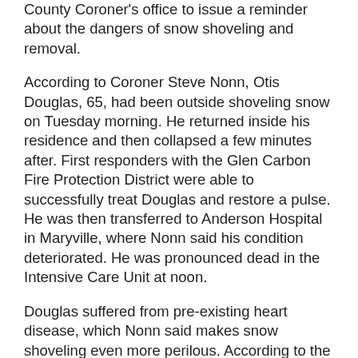County Coroner's office to issue a reminder about the dangers of snow shoveling and removal.
According to Coroner Steve Nonn, Otis Douglas, 65, had been outside shoveling snow on Tuesday morning. He returned inside his residence and then collapsed a few minutes after. First responders with the Glen Carbon Fire Protection District were able to successfully treat Douglas and restore a pulse. He was then transferred to Anderson Hospital in Maryville, where Nonn said his condition deteriorated. He was pronounced dead in the Intensive Care Unit at noon.
Douglas suffered from pre-existing heart disease, which Nonn said makes snow shoveling even more perilous. According to the coroner, the National Safety Council offers tips regarding snow removal; which include taking it slow and stretching before beginning, shoveling only fresh, powdery snow,